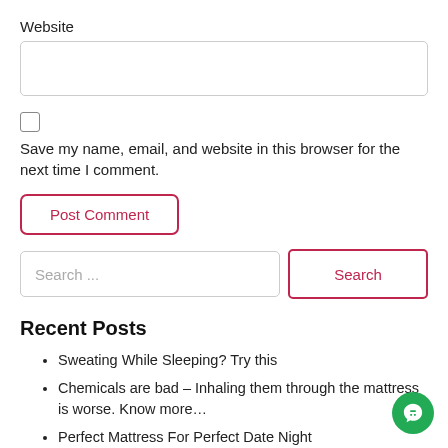Website
Save my name, email, and website in this browser for the next time I comment.
Post Comment
Search ...
Search
Recent Posts
Sweating While Sleeping? Try this
Chemicals are bad – Inhaling them through the mattress is worse. Know more...
Perfect Mattress For Perfect Date Night
6 Best DIY Techniques Of Cleaning The Mattress